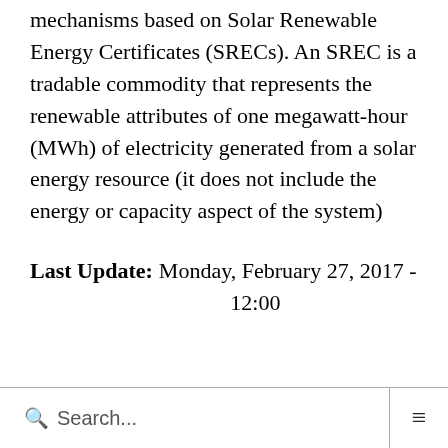mechanisms based on Solar Renewable Energy Certificates (SRECs). An SREC is a tradable commodity that represents the renewable attributes of one megawatt-hour (MWh) of electricity generated from a solar energy resource (it does not include the energy or capacity aspect of the system)
Last Update: Monday, February 27, 2017 - 12:00
Search...